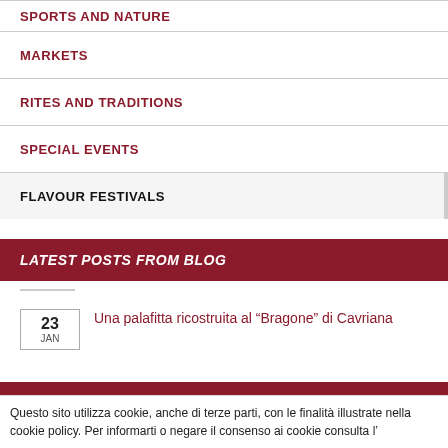SPORTS AND NATURE
MARKETS
RITES AND TRADITIONS
SPECIAL EVENTS
FLAVOUR FESTIVALS
LATEST POSTS FROM BLOG
23 JAN — Una palafitta ricostruita al “Bragone” di Cavriana
FIND HOTELS, RESTAURANTS:
Questo sito utilizza cookie, anche di terze parti, con le finalità illustrate nella cookie policy. Per informarti o negare il consenso ai cookie consulta l’